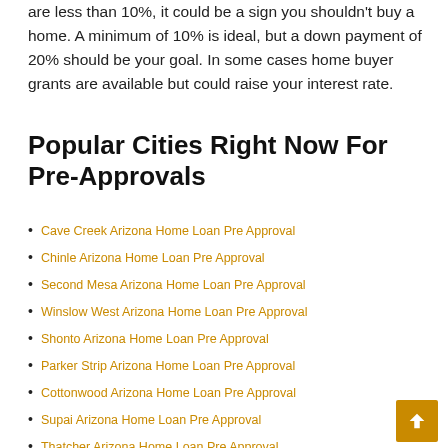are less than 10%, it could be a sign you shouldn't buy a home. A minimum of 10% is ideal, but a down payment of 20% should be your goal. In some cases home buyer grants are available but could raise your interest rate.
Popular Cities Right Now For Pre-Approvals
Cave Creek Arizona Home Loan Pre Approval
Chinle Arizona Home Loan Pre Approval
Second Mesa Arizona Home Loan Pre Approval
Winslow West Arizona Home Loan Pre Approval
Shonto Arizona Home Loan Pre Approval
Parker Strip Arizona Home Loan Pre Approval
Cottonwood Arizona Home Loan Pre Approval
Supai Arizona Home Loan Pre Approval
Thatcher Arizona Home Loan Pre Approval
St. Michaels Arizona Home Loan Pre Approval